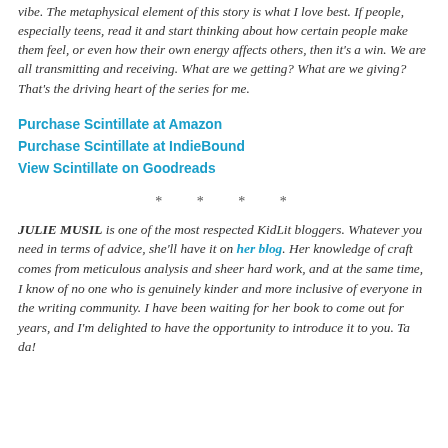vibe. The metaphysical element of this story is what I love best. If people, especially teens, read it and start thinking about how certain people make them feel, or even how their own energy affects others, then it's a win. We are all transmitting and receiving. What are we getting? What are we giving? That's the driving heart of the series for me.
Purchase Scintillate at Amazon
Purchase Scintillate at IndieBound
View Scintillate on Goodreads
* * *
JULIE MUSIL is one of the most respected KidLit bloggers. Whatever you need in terms of advice, she'll have it on her blog. Her knowledge of craft comes from meticulous analysis and sheer hard work, and at the same time, I know of no one who is genuinely kinder and more inclusive of everyone in the writing community. I have been waiting for her book to come out for years, and I'm delighted to have the opportunity to introduce it to you. Ta da!